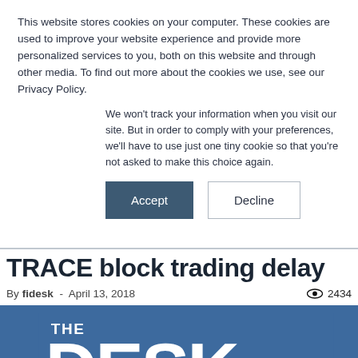This website stores cookies on your computer. These cookies are used to improve your website experience and provide more personalized services to you, both on this website and through other media. To find out more about the cookies we use, see our Privacy Policy.
We won't track your information when you visit our site. But in order to comply with your preferences, we'll have to use just one tiny cookie so that you're not asked to make this choice again.
Accept
Decline
TRACE block trading delay
By fidesk - April 13, 2018   2434
[Figure (logo): The Desk logo on blue background with 'THE' in small text above large 'DESK' text, url www.fi-desk.com at bottom right]